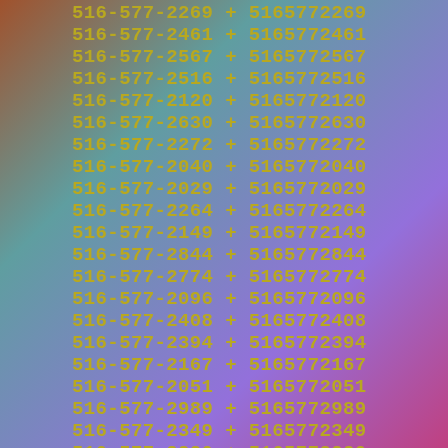516-577-2269 + 5165772269
516-577-2461 + 5165772461
516-577-2567 + 5165772567
516-577-2516 + 5165772516
516-577-2120 + 5165772120
516-577-2630 + 5165772630
516-577-2272 + 5165772272
516-577-2040 + 5165772040
516-577-2029 + 5165772029
516-577-2264 + 5165772264
516-577-2149 + 5165772149
516-577-2844 + 5165772844
516-577-2774 + 5165772774
516-577-2096 + 5165772096
516-577-2408 + 5165772408
516-577-2394 + 5165772394
516-577-2167 + 5165772167
516-577-2051 + 5165772051
516-577-2989 + 5165772989
516-577-2349 + 5165772349
516-577-2220 + 5165772220
516-577-2447 + 5165772447
516-577-2892 + 5165772892